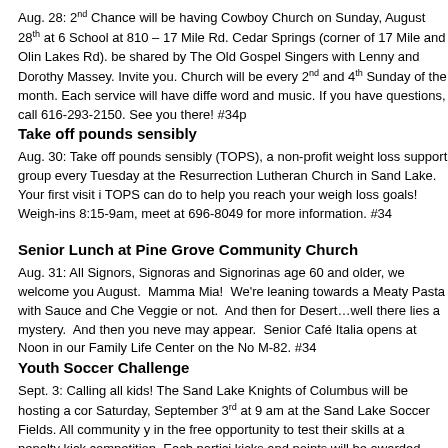Aug. 28: 2nd Chance will be having Cowboy Church on Sunday, August 28th at 6 School at 810 – 17 Mile Rd. Cedar Springs (corner of 17 Mile and Olin Lakes Rd). be shared by The Old Gospel Singers with Lenny and Dorothy Massey. Invite you. Church will be every 2nd and 4th Sunday of the month. Each service will have diffe word and music. If you have questions, call 616-293-2150. See you there! #34p
Take off pounds sensibly
Aug. 30: Take off pounds sensibly (TOPS), a non-profit weight loss support group every Tuesday at the Resurrection Lutheran Church in Sand Lake. Your first visit i TOPS can do to help you reach your weigh loss goals! Weigh-ins 8:15-9am, meet at 696-8049 for more information. #34
Senior Lunch at Pine Grove Community Church
Aug. 31: All Signors, Signoras and Signorinas age 60 and older, we welcome you August. Mamma Mia! We're leaning towards a Meaty Pasta with Sauce and Che Veggie or not. And then for Desert…well there lies a mystery. And then you neve may appear. Senior Café Italia opens at Noon in our Family Life Center on the No M-82. #34
Youth Soccer Challenge
Sept. 3: Calling all kids! The Sand Lake Knights of Columbus will be hosting a cor Saturday, September 3rd at 9 am at the Sand Lake Soccer Fields. All community y in the free opportunity to test their skills at a penalty kick competition. Each partici kicks and points will be awarded depending on the area of the scoring zones thr